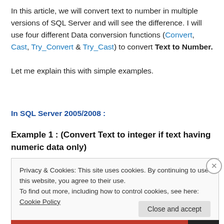In this article, we will convert text to number in multiple versions of SQL Server and will see the difference. I will use four different Data conversion functions (Convert, Cast, Try_Convert & Try_Cast) to convert Text to Number.
Let me explain this with simple examples.
In SQL Server 2005/2008 :
Example 1 : (Convert Text to integer if text having numeric data only)
Privacy & Cookies: This site uses cookies. By continuing to use this website, you agree to their use.
To find out more, including how to control cookies, see here: Cookie Policy